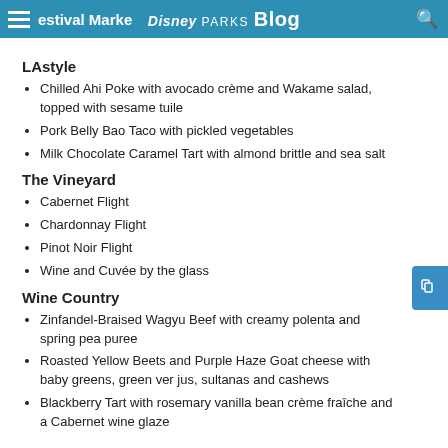Festival Marketplace - Disney Parks Blog
LAstyle
Chilled Ahi Poke with avocado crème and Wakame salad, topped with sesame tuile
Pork Belly Bao Taco with pickled vegetables
Milk Chocolate Caramel Tart with almond brittle and sea salt
The Vineyard
Cabernet Flight
Chardonnay Flight
Pinot Noir Flight
Wine and Cuvée by the glass
Wine Country
Zinfandel-Braised Wagyu Beef with creamy polenta and spring pea puree
Roasted Yellow Beets and Purple Haze Goat cheese with baby greens, green ver jus, sultanas and cashews
Blackberry Tart with rosemary vanilla bean crème fraîche and a Cabernet wine glaze